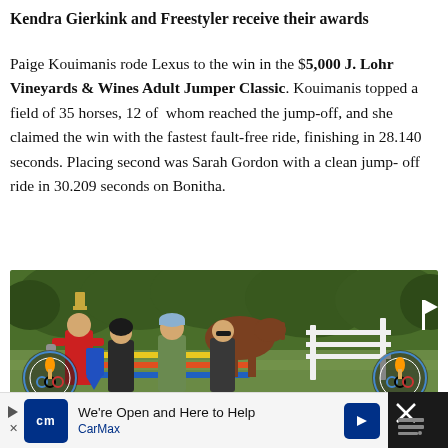Kendra Gierkink and Freestyler receive their awards
Paige Kouimanis rode Lexus to the win in the $5,000 J. Lohr Vineyards & Wines Adult Jumper Classic. Kouimanis topped a field of 35 horses, 12 of whom reached the jump-off, and she claimed the win with the fastest fault-free ride, finishing in 28.140 seconds. Placing second was Sarah Gordon with a clean jump-off ride in 30.209 seconds on Bonitha.
[Figure (photo): Award ceremony photo at an equestrian event showing four people standing together outdoors. A ringmaster in a red coat and top hat is on the left holding a blue ribbon, next to a rider in a helmet and black jacket, then a man in a green sweater and cap, and a woman in a dark vest. Olympic-style logos with '1932' are visible on the left and right sides. Trees are visible in the background.]
We're Open and Here to Help CarMax